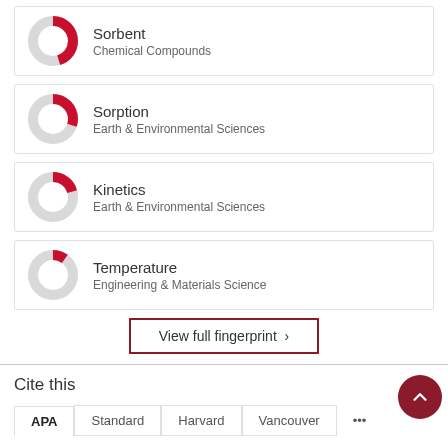[Figure (donut-chart): Donut chart approximately 70% filled, red arc on grey circle]
Sorbent
Chemical Compounds
[Figure (donut-chart): Donut chart approximately 55% filled, red arc on grey circle]
Sorption
Earth & Environmental Sciences
[Figure (donut-chart): Donut chart approximately 45% filled, red arc on grey circle]
Kinetics
Earth & Environmental Sciences
[Figure (donut-chart): Donut chart approximately 35% filled, red arc on grey circle]
Temperature
Engineering & Materials Science
View full fingerprint ›
Cite this
APA   Standard   Harvard   Vancouver   ...